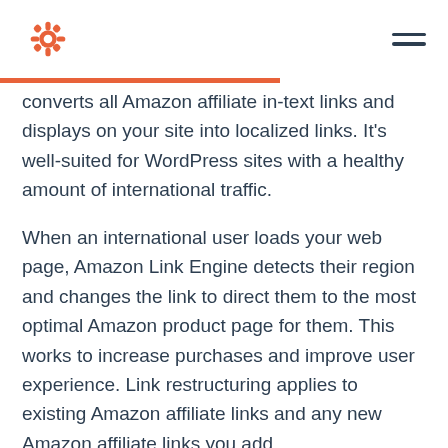HubSpot logo and navigation menu
converts all Amazon affiliate in-text links and displays on your site into localized links. It's well-suited for WordPress sites with a healthy amount of international traffic.
When an international user loads your web page, Amazon Link Engine detects their region and changes the link to direct them to the most optimal Amazon product page for them. This works to increase purchases and improve user experience. Link restructuring applies to existing Amazon affiliate links and any new Amazon affiliate links you add.
While some other Amazon affiliate plugins offer similar geolocation technology, Amazon Link Engine